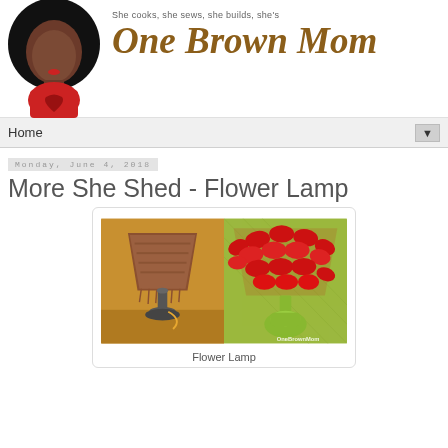[Figure (logo): One Brown Mom blog logo: illustrated woman with afro hair, and script text 'One Brown Mom' with tagline 'She cooks, she sews, she builds, she's']
Home
Monday, June 4, 2018
More She Shed - Flower Lamp
[Figure (photo): Two side-by-side photos of a lamp: before (old lamp with brown tasseled shade) and after (lamp with bright red flower petal shade and lime green base), with watermark 'OneBrownMom']
Flower Lamp